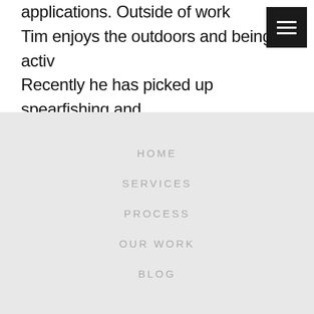across numerous industries and applications. Outside of work Tim enjoys the outdoors and being active. Recently he has picked up spearfishing and loves it!
HOME
SERVICES
PROCESS
OUR WORK
BLOG